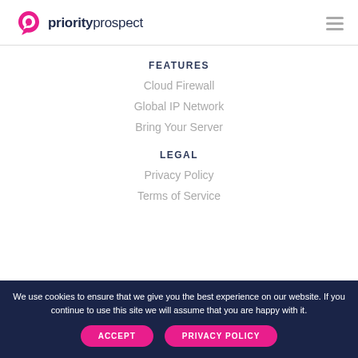[Figure (logo): Priority Prospect logo with pink spiral icon and dark navy text]
FEATURES
Cloud Firewall
Global IP Network
Bring Your Server
LEGAL
Privacy Policy
Terms of Service
We use cookies to ensure that we give you the best experience on our website. If you continue to use this site we will assume that you are happy with it.
ACCEPT
PRIVACY POLICY